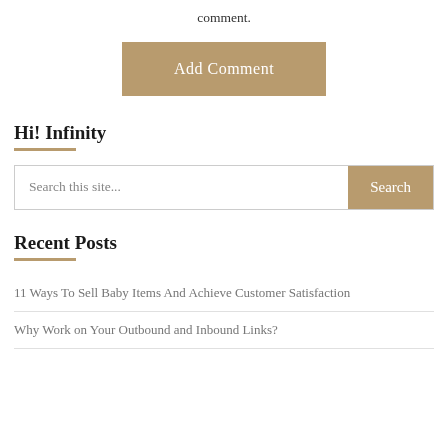comment.
[Figure (other): Add Comment button — tan/gold colored rectangular button with white text 'Add Comment']
Hi! Infinity
[Figure (other): Search bar with placeholder 'Search this site...' and a tan Search button]
Recent Posts
11 Ways To Sell Baby Items And Achieve Customer Satisfaction
Why Work on Your Outbound and Inbound Links?